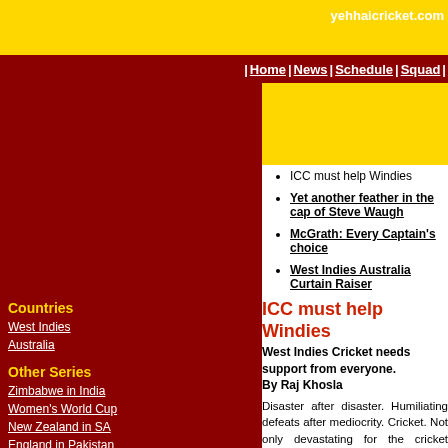yehhaicricket.com
| Home | News | Schedule | Squad |
ICC must help Windies
Yet another feather in the cap of Steve Waugh
McGrath: Every Captain's choice
West Indies Australia Curtain Raiser
ICC must help Windies
West Indies Cricket needs support from everyone.
By Raj Khosla
Disaster after disaster. Humiliating defeats after mediocrity. Cricket. Not only devastating for the cricket loving Caribbe... once-mighty of the game.
Everybody is shocked to see the abysmal level of cricket play... continues, then the sheer popularity of the game will suffer at... King of the game. Their domination was such that nobody co...
Countries
West Indies
Australia
Other Series
Zimbabwe in India
Women's World Cup
New Zealand in SA
England in Pakistan